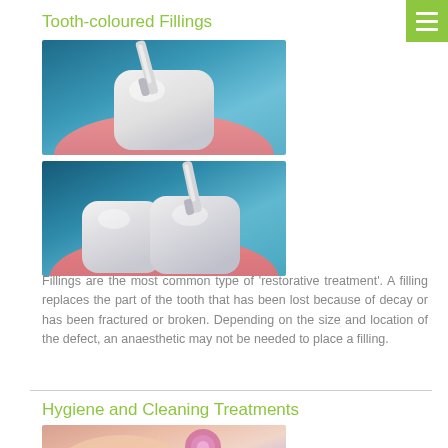Tooth-coloured Fillings
[Figure (photo): Two dental procedure images showing tooth-coloured filling placement with dental instruments on teeth]
Fillings are the most common type of 'restorative treatment'. A filling replaces the part of the tooth that has been lost because of decay or has been fractured or broken. Depending on the size and location of the defect, an anaesthetic may not be needed to place a filling.
Hygiene and Cleaning Treatments
[Figure (photo): Close-up photo of dental hygiene cleaning treatment being performed on a patient]